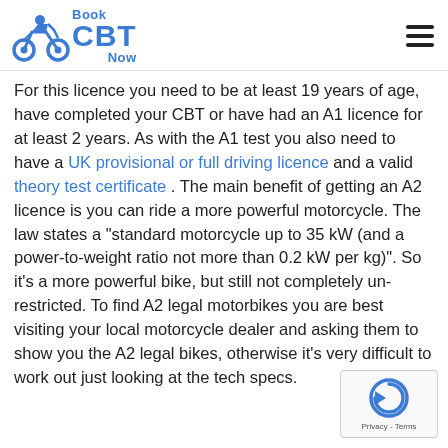Book CBT Now
For this licence you need to be at least 19 years of age, have completed your CBT or have had an A1 licence for at least 2 years. As with the A1 test you also need to have a UK provisional or full driving licence and a valid theory test certificate . The main benefit of getting an A2 licence is you can ride a more powerful motorcycle. The law states a "standard motorcycle up to 35 kW (and a power-to-weight ratio not more than 0.2 kW per kg)". So it's a more powerful bike, but still not completely un-restricted. To find A2 legal motorbikes you are best visiting your local motorcycle dealer and asking them to show you the A2 legal bikes, otherwise it's very difficult to work out just looking at the tech specs.